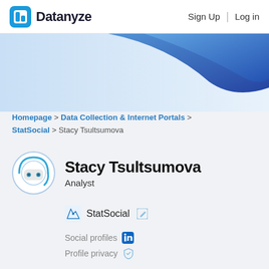Datanyze | Sign Up | Log in
[Figure (illustration): Blue and dark blue wave/banner graphic in the header area]
Homepage > Data Collection & Internet Portals > StatSocial > Stacy Tsultsumova
Stacy Tsultsumova
Analyst
StatSocial
Social profiles
Profile privacy